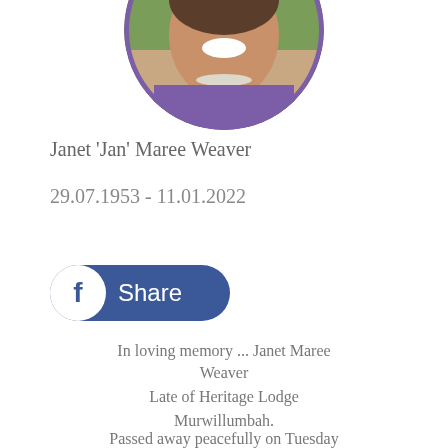[Figure (photo): Circular portrait photo of Janet 'Jan' Maree Weaver, a smiling woman, cropped at the top of the page]
Janet 'Jan' Maree Weaver
29.07.1953 - 11.01.2022
[Figure (infographic): Facebook Share button — blue rounded pill shape with white Facebook 'f' icon circle on the left and 'Share' text in white on the right]
In loving memory ... Janet Maree Weaver
Late of Heritage Lodge Murwillumbah.
Passed away peacefully on Tuesday